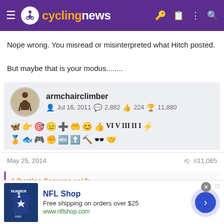cyclingnews
Nope wrong. You misread or misinterpreted what Hitch posted.

But maybe that is your modus........
armchairclimber
Jul 16, 2011  2,882  224  11,880
May 25, 2014  #11,065
Libertine Seguros said:
[Figure (screenshot): NFL Shop advertisement banner with jersey image, NFL Shop title, 'Free shipping on orders over $25', www.nflshop.com URL, and a forward arrow button]